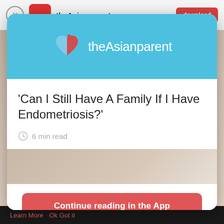[Figure (screenshot): theAsianparent app download banner at top of screen]
[Figure (screenshot): theAsianparent logo with heart icon on light blue background inside modal]
'Can I Still Have A Family If I Have Endometriosis?'
6 min read
[Figure (photo): Background lifestyle photo visible behind modal and in modal image strip]
Continue reading in the App
App exclusive article
Learn More   Ok Got it